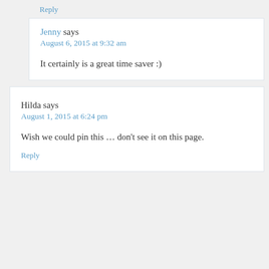Reply
Jenny says
August 6, 2015 at 9:32 am
It certainly is a great time saver :)
Hilda says
August 1, 2015 at 6:24 pm
Wish we could pin this … don't see it on this page.
Reply